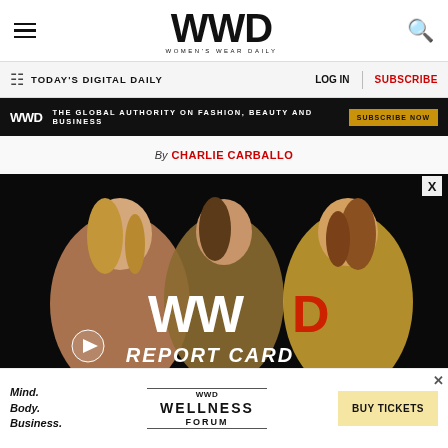WWD — Women's Wear Daily
TODAY'S DIGITAL DAILY | LOG IN | SUBSCRIBE
[Figure (other): WWD black advertisement banner: THE GLOBAL AUTHORITY ON FASHION, BEAUTY AND BUSINESS — SUBSCRIBE NOW]
By CHARLIE CARBALLO
[Figure (photo): Three women (Beyoncé at different looks) posing on a dark background, overlaid with large WWD logo and text reading REPORT CARD]
[Figure (other): Bottom advertisement banner: Mind. Body. Business. WWD WELLNESS FORUM — BUY TICKETS]